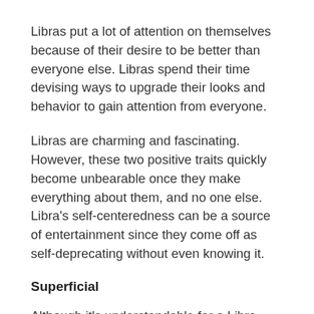Libras put a lot of attention on themselves because of their desire to be better than everyone else. Libras spend their time devising ways to upgrade their looks and behavior to gain attention from everyone.
Libras are charming and fascinating. However, these two positive traits quickly become unbearable once they make everything about them, and no one else. Libra's self-centeredness can be a source of entertainment since they come off as self-deprecating without even knowing it.
Superficial
Although it's understandable for a Libra-born